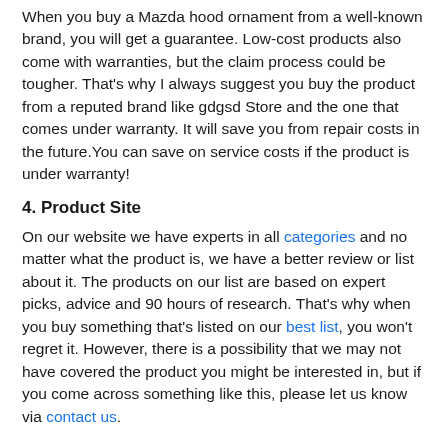When you buy a Mazda hood ornament from a well-known brand, you will get a guarantee. Low-cost products also come with warranties, but the claim process could be tougher. That's why I always suggest you buy the product from a reputed brand like gdgsd Store and the one that comes under warranty. It will save you from repair costs in the future.You can save on service costs if the product is under warranty!
4. Product Site
On our website we have experts in all categories and no matter what the product is, we have a better review or list about it. The products on our list are based on expert picks, advice and 90 hours of research. That's why when you buy something that's listed on our best list, you won't regret it. However, there is a possibility that we may not have covered the product you might be interested in, but if you come across something like this, please let us know via contact us.